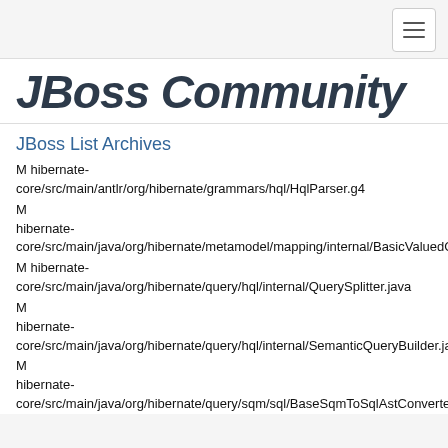[Figure (logo): JBoss Community logo in dark blue/navy stylized text]
JBoss List Archives
M hibernate-core/src/main/antlr/org/hibernate/grammars/hql/HqlParser.g4
M hibernate-core/src/main/java/org/hibernate/metamodel/mapping/internal/BasicValuedCollectionPart.java
M hibernate-core/src/main/java/org/hibernate/query/hql/internal/QuerySplitter.java
M hibernate-core/src/main/java/org/hibernate/query/hql/internal/SemanticQueryBuilder.java
M hibernate-core/src/main/java/org/hibernate/query/sqm/sql/BaseSqmToSqlAstConverter.java